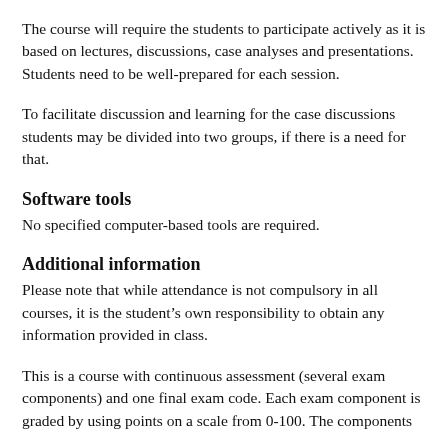The course will require the students to participate actively as it is based on lectures, discussions, case analyses and presentations. Students need to be well-prepared for each session.
To facilitate discussion and learning for the case discussions students may be divided into two groups, if there is a need for that.
Software tools
No specified computer-based tools are required.
Additional information
Please note that while attendance is not compulsory in all courses, it is the student’s own responsibility to obtain any information provided in class.
This is a course with continuous assessment (several exam components) and one final exam code. Each exam component is graded by using points on a scale from 0-100. The components